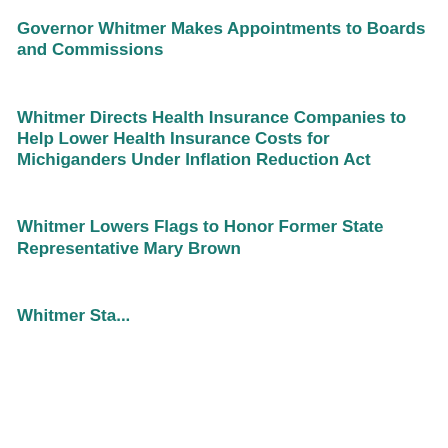Governor Whitmer Makes Appointments to Boards and Commissions
Whitmer Directs Health Insurance Companies to Help Lower Health Insurance Costs for Michiganders Under Inflation Reduction Act
Whitmer Lowers Flags to Honor Former State Representative Mary Brown
Whitmer Signs...